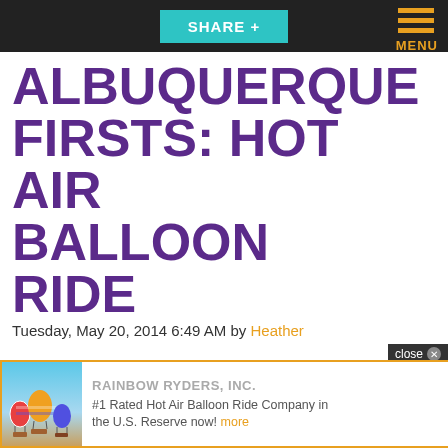SHARE +
ALBUQUERQUE FIRSTS: HOT AIR BALLOON RIDE
Tuesday, May 20, 2014 6:49 AM by Heather
I'm a scaredy cat. Heights, flying, spiders, you name it. So, you can imagine my trepidation when Scott Appleman of Rainbow Ryders told me a couple of weeks ago that I should take a ride with his team. Given that I'm new to Albuquerque, my job is to promote tourism here, this is
RAINBOW RYDERS, INC. #1 Rated Hot Air Balloon Ride Company in the U.S. Reserve now! more